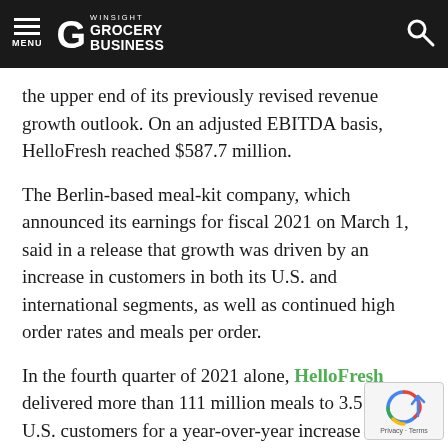MENU | WINSIGHT GROCERY BUSINESS
the upper end of its previously revised revenue growth outlook. On an adjusted EBITDA basis, HelloFresh reached $587.7 million.
The Berlin-based meal-kit company, which announced its earnings for fiscal 2021 on March 1, said in a release that growth was driven by an increase in customers in both its U.S. and international segments, as well as continued high order rates and meals per order.
In the fourth quarter of 2021 alone, HelloFresh delivered more than 111 million meals to 3.5 million U.S. customers for a year-over-year increase of 38.7% and 34.9%, respectively. Internationally, active customers reached 3.7 million, an increase of 38.1 year over year, and meals delivered 133 million, a increase of 34.3%